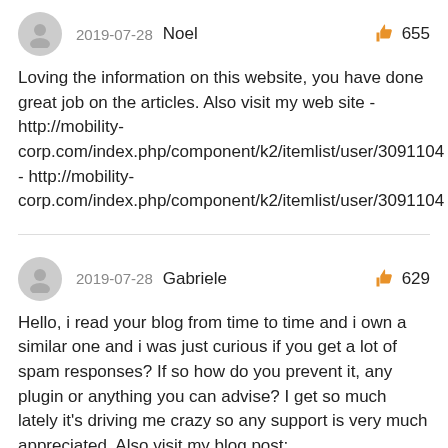2019-07-28  Noel  👍 655
Loving the information on this website, you have done great job on the articles. Also visit my web site - http://mobility-corp.com/index.php/component/k2/itemlist/user/3091104 - http://mobility-corp.com/index.php/component/k2/itemlist/user/3091104
2019-07-28  Gabriele  👍 629
Hello, i read your blog from time to time and i own a similar one and i was just curious if you get a lot of spam responses? If so how do you prevent it, any plugin or anything you can advise? I get so much lately it's driving me crazy so any support is very much appreciated. Also visit my blog post; http://zhii.net/totalreactionshdoilreview77082